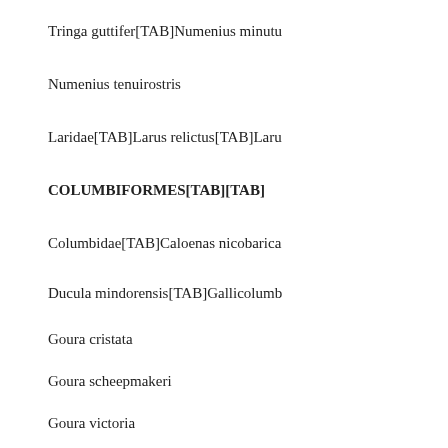Tringa guttifer[TAB]Numenius minutu
Numenius tenuirostris
Laridae[TAB]Larus relictus[TAB]Laru
COLUMBIFORMES[TAB][TAB]
Columbidae[TAB]Caloenas nicobarica
Ducula mindorensis[TAB]Gallicolumb
Goura cristata
Goura scheepmakeri
Goura victoria
PSITTACIFORMES[TAB][TAB]
Psittacidae[TAB]Amazona guildingii